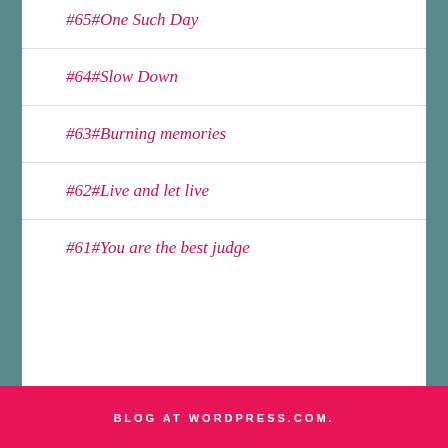#65#One Such Day
#64#Slow Down
#63#Burning memories
#62#Live and let live
#61#You are the best judge
- Follow Us -
BLOG AT WORDPRESS.COM.